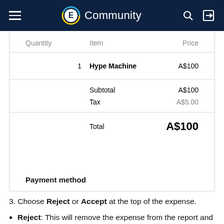E Community
| Quantity | Item | Price |
| --- | --- | --- |
| 1 | Hype Machine | A$100 |
|  | Subtotal | A$100 |
|  | Tax | A$5.00 |
|  | Total | A$100 |
Payment method
3. Choose Reject or Accept at the top of the expense.
Reject: This will remove the expense from the report and send it back to the submitter. An email will be sent to the submitter explaining this expense